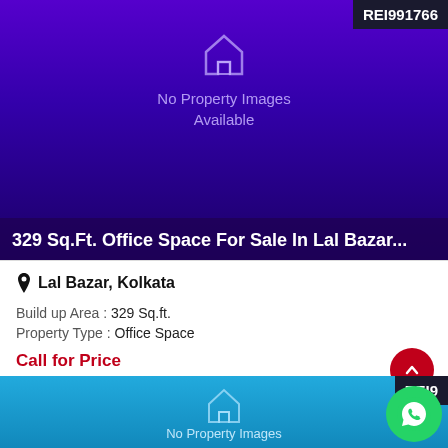[Figure (screenshot): Property listing card with purple gradient background showing no property image available, with REI991766 badge]
329 Sq.Ft. Office Space For Sale In Lal Bazar...
Lal Bazar, Kolkata
Build up Area : 329 Sq.ft.
Property Type : Office Space
Call for Price
[Figure (screenshot): Partial second property listing card with blue gradient background, REI9... badge visible, No Property Images Available text]